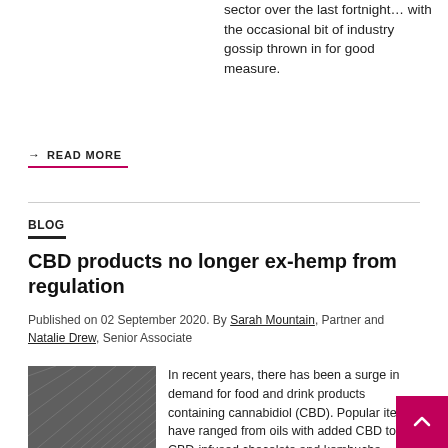sector over the last fortnight… with the occasional bit of industry gossip thrown in for good measure.
→ READ MORE
BLOG
CBD products no longer ex-hemp from regulation
Published on 02 September 2020. By Sarah Mountain, Partner and Natalie Drew, Senior Associate
[Figure (photo): Architectural photo showing geometric building structure with diagonal lines, dark toned]
In recent years, there has been a surge in demand for food and drink products containing cannabidiol (CBD). Popular items have ranged from oils with added CBD to CBD-infused chocolate and kombucha.